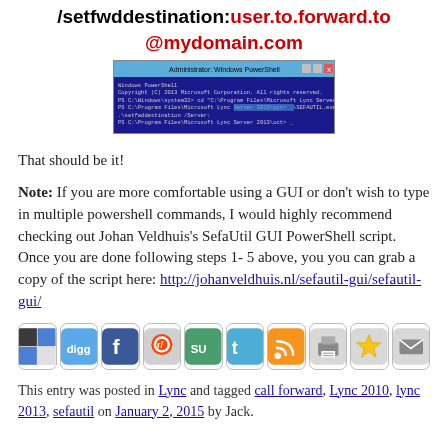/setfwddestination:user.to.forward.to@mydomain.com
[Figure (screenshot): Administrator Windows PowerShell terminal window showing Lync Server commands being executed]
That should be it!
Note: If you are more comfortable using a GUI or don't wish to type in multiple powershell commands, I would highly recommend checking out Johan Veldhuis's SefaUtil GUI PowerShell script.  Once you are done following steps 1-5 above, you you can grab a copy of the script here: http://johanveldhuis.nl/sefautil-gui/sefautil-gui/
[Figure (infographic): Row of social sharing icons: Delicious, Digg, Facebook, Reddit, StumbleUpon, Twitter, RSS, Print, Bookmark, Email]
This entry was posted in Lync and tagged call forward, Lync 2010, lync 2013, sefautil on January 2, 2015 by Jack.